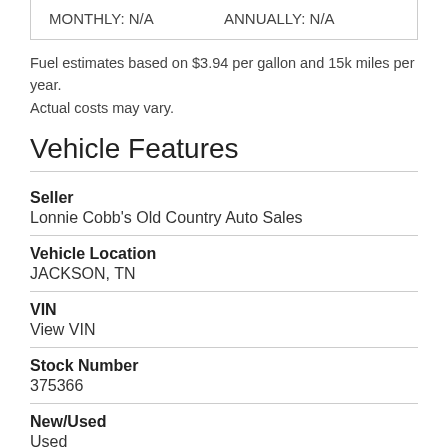| MONTHLY: N/A | ANNUALLY: N/A |
Fuel estimates based on $3.94 per gallon and 15k miles per year. Actual costs may vary.
Vehicle Features
Seller
Lonnie Cobb's Old Country Auto Sales
Vehicle Location
JACKSON, TN
VIN
View VIN
Stock Number
375366
New/Used
Used